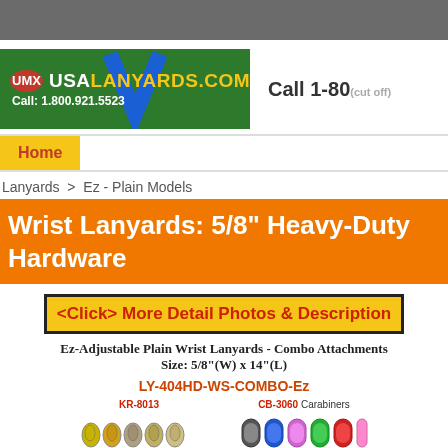[Figure (screenshot): Top gray navigation bar]
[Figure (logo): USALanyards.com logo banner with UMX oval, yellow site name, white call number on green background]
Call 1-80
Home
Lanyards > Ez - Plain Models
Wrist Lanyards: 5/8" Heavy-Duty Hardware
<Click> More Detail Photos & Description
Ez-Adjustable Plain Wrist Lanyards - Combo Attachments Size: 5/8"(W) x 14"(L)
LY-404HD-WS-COMBO-Ez
[Figure (photo): Hardware items: KR-8013 key rings on left, CB-3060 Carabiners on right, shown as small colorful hardware clips/rings]